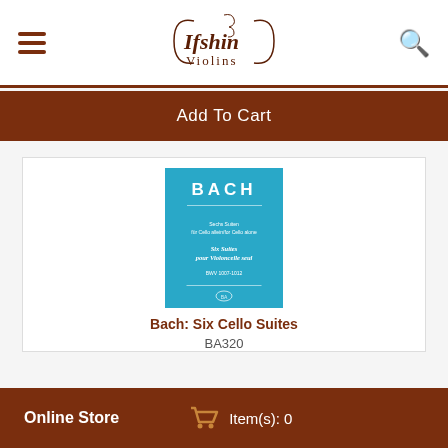Ifshin Violins
Add To Cart
[Figure (photo): Book cover of Bach: Six Cello Suites with teal/blue background and white text showing BACH in large letters]
Bach: Six Cello Suites
BA320
Online Store   Item(s): 0